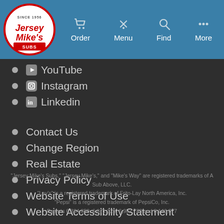[Figure (screenshot): Jersey Mike's Subs website navigation bar with logo and icons for Order, Menu, Find, More]
YouTube
Instagram
Linkedin
Contact Us
Change Region
Real Estate
Privacy Policy
Website Terms of Use
Website Accessibility Statement
"Jersey Mike's Subs," "Jersey Mike's," and "Mike's Way" are registered trademarks of A Sub Above, LLC.
"Lay's" is a registered trademark of Frito-Lay North America, Inc.
"Pepsi" is a registered trademark of PepsiCo, Inc.
Patents 6,384,850, 6,871,325, 6,982,733 and 8,146,077